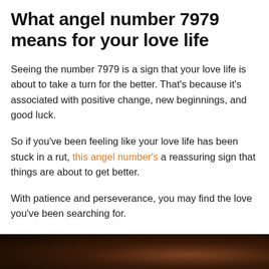What angel number 7979 means for your love life
Seeing the number 7979 is a sign that your love life is about to take a turn for the better. That's because it's associated with positive change, new beginnings, and good luck.
So if you've been feeling like your love life has been stuck in a rut, this angel number's a reassuring sign that things are about to get better.
With patience and perseverance, you may find the love you've been searching for.
Are you single and seeing angel number 7979?
[Figure (photo): Bottom portion of a dark photograph, partially visible at the bottom of the page]